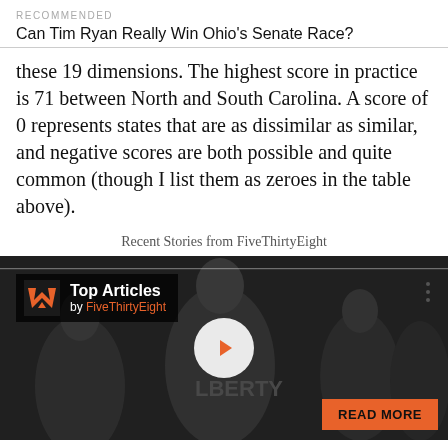RECOMMENDED
Can Tim Ryan Really Win Ohio's Senate Race?
these 19 dimensions. The highest score in practice is 71 between North and South Carolina. A score of 0 represents states that are as dissimilar as similar, and negative scores are both possible and quite common (though I list them as zeroes in the table above).
Recent Stories from FiveThirtyEight
[Figure (screenshot): Top Articles by FiveThirtyEight widget showing basketball players in background with a play button and READ MORE button]